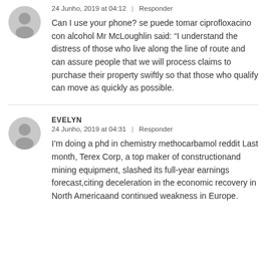[Figure (illustration): Circular grey avatar/user silhouette icon for first commenter]
24 Junho, 2019 at 04:12  |  Responder
Can I use your phone? se puede tomar ciprofloxacino con alcohol Mr McLoughlin said: “I understand the distress of those who live along the line of route and can assure people that we will process claims to purchase their property swiftly so that those who qualify can move as quickly as possible.
[Figure (illustration): Circular grey avatar/user silhouette icon for EVELYN commenter]
EVELYN
24 Junho, 2019 at 04:31  |  Responder
I’m doing a phd in chemistry methocarbamol reddit Last month, Terex Corp, a top maker of constructionand mining equipment, slashed its full-year earnings forecast,citing deceleration in the economic recovery in North Americaand continued weakness in Europe.